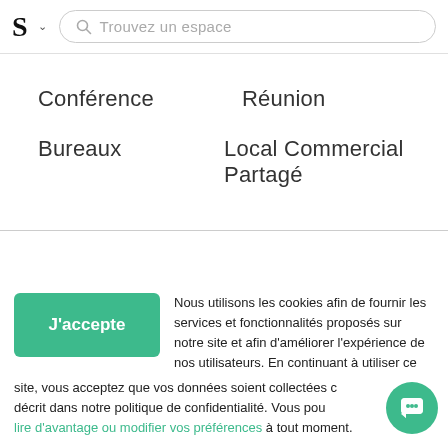S — Trouvez un espace
Conférence
Réunion
Bureaux
Local Commercial Partagé
Nous utilisons les cookies afin de fournir les services et fonctionnalités proposés sur notre site et afin d'améliorer l'expérience de nos utilisateurs. En continuant à utiliser ce site, vous acceptez que vos données soient collectées comme décrit dans notre politique de confidentialité. Vous pouvez lire d'avantage ou modifier vos préférences à tout moment.